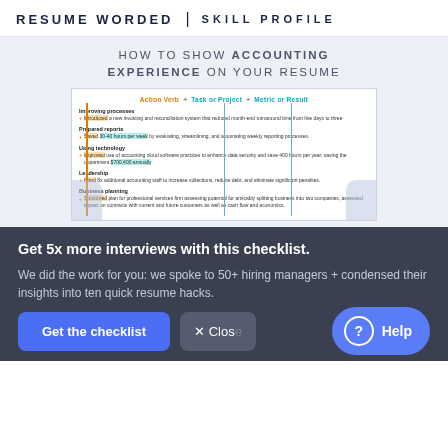RESUME WORDED | SKILL PROFILE
HOW TO SHOW ACCOUNTING EXPERIENCE ON YOUR RESUME
[Figure (screenshot): Resume screenshot showing action verb + task or project + metric or result formula applied to accounting resume bullets: Improving processes, Prepared reports, Using technology, Leadership, Business planning sections]
Get 5x more interviews with this checklist.
We did the work for you: we spoke to 50+ hiring managers + condensed their insights into ten quick resume hacks.
Get the checklist
× Close
Help